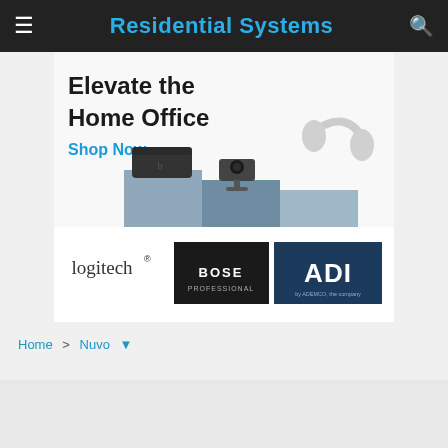Residential Systems
[Figure (illustration): Advertisement banner: 'Elevate the Home Office – Shop Now' featuring Logitech speaker, webcam, and Bose headphones on stepped blue pedestals. Logos: logitech, BOSE Professional, ADI.]
Home > Nuvo ▼